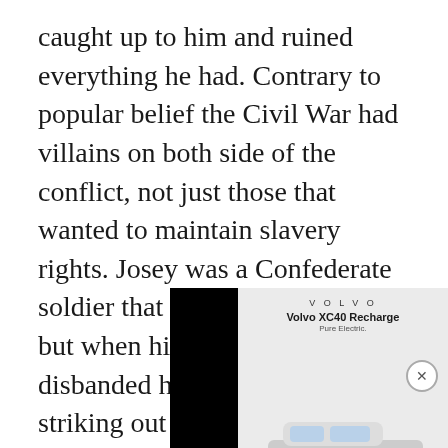caught up to him and ruined everything he had. Contrary to popular belief the Civil War had villains on both side of the conflict, not just those that wanted to maintain slavery rights. Josey was a Confederate soldier that had an axe to grind, but when his group was disbanded he had no trouble striking out on his [obscured] against the men tha[obscured] Throughout a serie[obscured] new companions t[obscured] Josey finally did g[obscured] killed his family.
[Figure (other): Advertisement overlay partially covering the text. Volvo XC40 Recharge Pure Electric advertisement with car image, color selection dots, and CTA button. Black panels flank the ad. A close (X) button appears at bottom right.]